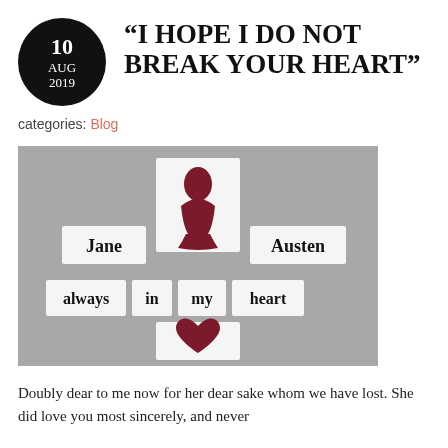“I HOPE I DO NOT BREAK YOUR HEART”
categories: Blog
[Figure (photo): Photo of fridge magnet tiles arranged on a gray surface spelling out 'Jane Austen always in my heart' with a dark red silhouette of Jane Austen and a dark red heart tile.]
Doubly dear to me now for her dear sake whom we have lost. She did love you most sincerely, and never